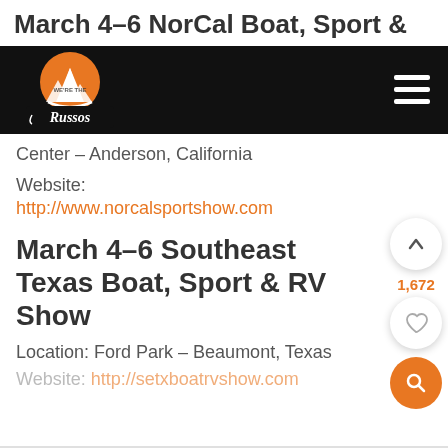March 4–6 NorCal Boat, Sport &
[Figure (logo): We're The Russos blog logo with orange mountain/sun graphic on black navigation header bar with hamburger menu icon]
Center – Anderson, California
Website:
http://www.norcalsportshow.com
March 4–6 Southeast Texas Boat, Sport & RV Show
Location: Ford Park – Beaumont, Texas
Website: http://setxboatrvshow.com